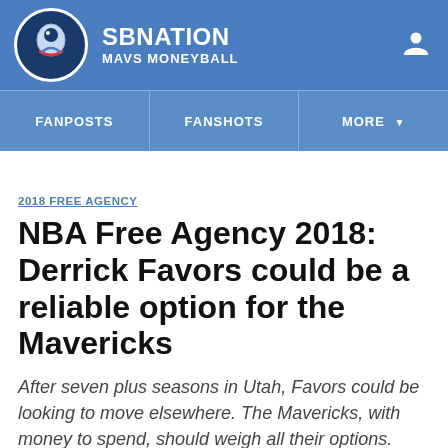SB NATION MAVS MONEYBALL
FANPOSTS | FANSHOTS | MORE
2018 FREE AGENCY
NBA Free Agency 2018: Derrick Favors could be a reliable option for the Mavericks
After seven plus seasons in Utah, Favors could be looking to move elsewhere. The Mavericks, with money to spend, should weigh all their options.
By Jordan Brodess | @Jbrodess | Jun 15, 2018, 8:00am CDT